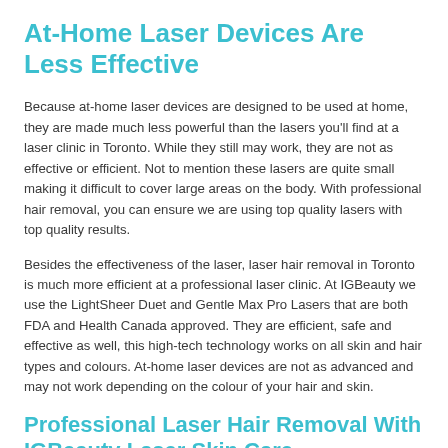At-Home Laser Devices Are Less Effective
Because at-home laser devices are designed to be used at home, they are made much less powerful than the lasers you'll find at a laser clinic in Toronto. While they still may work, they are not as effective or efficient. Not to mention these lasers are quite small making it difficult to cover large areas on the body. With professional hair removal, you can ensure we are using top quality lasers with top quality results.
Besides the effectiveness of the laser, laser hair removal in Toronto is much more efficient at a professional laser clinic. At IGBeauty we use the LightSheer Duet and Gentle Max Pro Lasers that are both FDA and Health Canada approved. They are efficient, safe and effective as well, this high-tech technology works on all skin and hair types and colours. At-home laser devices are not as advanced and may not work depending on the colour of your hair and skin.
Professional Laser Hair Removal With IGBeauty Laser Skin Care